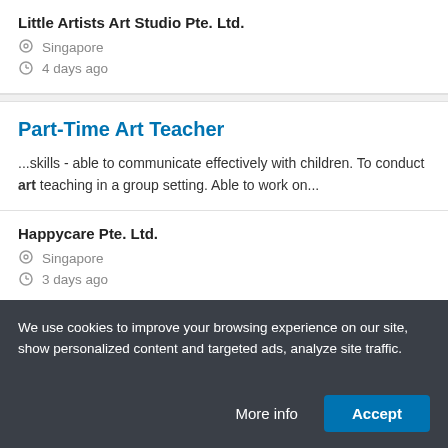Little Artists Art Studio Pte. Ltd.
Singapore
4 days ago
Part-Time Art Teacher
...skills - able to communicate effectively with children. To conduct art teaching in a group setting. Able to work on...
Happycare Pte. Ltd.
Singapore
3 days ago
We use cookies to improve your browsing experience on our site, show personalized content and targeted ads, analyze site traffic.
More info
Accept